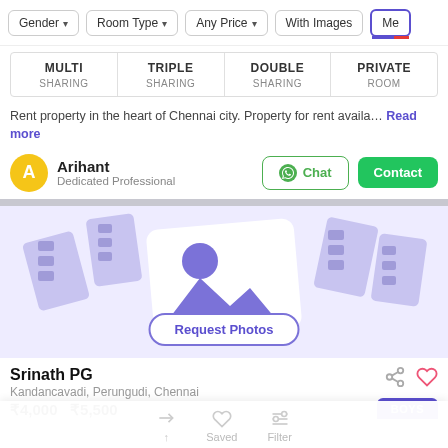Gender ▾  Room Type ▾  Any Price ▾  With Images  Me...
MULTI SHARING | TRIPLE SHARING | DOUBLE SHARING | PRIVATE ROOM
Rent property in the heart of Chennai city. Property for rent availa… Read more
Arihant
Dedicated Professional
[Figure (illustration): No Photos placeholder illustration with scattered building/photo card images in lavender/purple tones, with a 'Request Photos' button]
Srinath PG
Kandancavadi, Perungudi, Chennai
₹4,000   ₹5,500